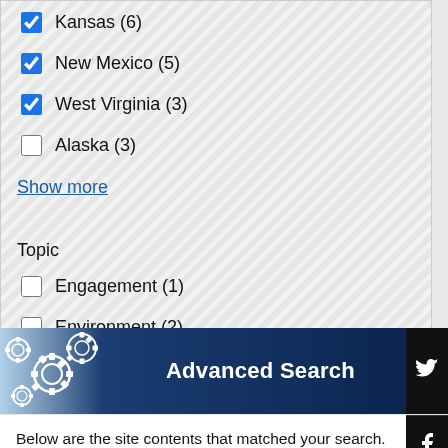Kansas (6) [checked]
New Mexico (5) [checked]
West Virginia (3) [checked]
Alaska (3) [unchecked]
Show more
Topic
Engagement (1) [unchecked]
Environment (2) [unchecked]
Safety (4) [unchecked]
[Figure (infographic): Advanced Search banner with gear icons on dark navy blue background]
Below are the site contents that matched your search. Use the text box and tags on the left side of the page to refine your results. The NCSSLE logo...